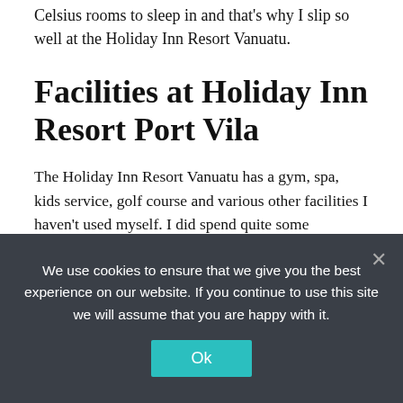Celsius rooms to sleep in and that's why I slip so well at the Holiday Inn Resort Vanuatu.
Facilities at Holiday Inn Resort Port Vila
The Holiday Inn Resort Vanuatu has a gym, spa, kids service, golf course and various other facilities I haven't used myself. I did spend quite some afternoon time at the pool from where I'm also writing this review the evening before my checkout. The beach with access to the Erakor Lagoon is idyllic. At the beach, the hotel offers free of charge, small sailboats, and kayaks for rent. The pool is a great choice to relax in the afternoon before going for dinner in downtown Port Vila.
We use cookies to ensure that we give you the best experience on our website. If you continue to use this site we will assume that you are happy with it.